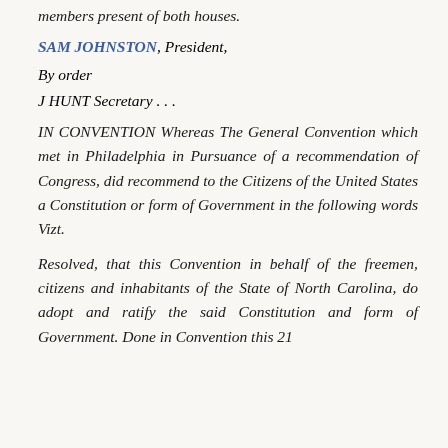members present of both houses.
SAM JOHNSTON, President,
By order
J HUNT Secretary . . .
IN CONVENTION Whereas The General Convention which met in Philadelphia in Pursuance of a recommendation of Congress, did recommend to the Citizens of the United States a Constitution or form of Government in the following words Vizt.
Resolved, that this Convention in behalf of the freemen, citizens and inhabitants of the State of North Carolina, do adopt and ratify the said Constitution and form of Government. Done in Convention this 21